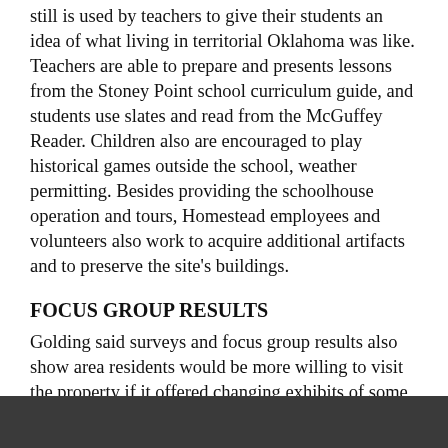still is used by teachers to give their students an idea of what living in territorial Oklahoma was like. Teachers are able to prepare and presents lessons from the Stoney Point school curriculum guide, and students use slates and read from the McGuffey Reader. Children also are encouraged to play historical games outside the school, weather permitting. Besides providing the schoolhouse operation and tours, Homestead employees and volunteers also work to acquire additional artifacts and to preserve the site's buildings.
FOCUS GROUP RESULTS
Golding said surveys and focus group results also show area residents would be more willing to visit the property if it offered changing exhibits of some type.